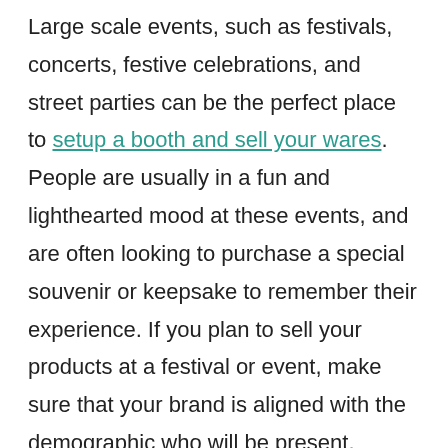Large scale events, such as festivals, concerts, festive celebrations, and street parties can be the perfect place to setup a booth and sell your wares. People are usually in a fun and lighthearted mood at these events, and are often looking to purchase a special souvenir or keepsake to remember their experience. If you plan to sell your products at a festival or event, make sure that your brand is aligned with the demographic who will be present.
3. Hire a Stall at a Market – Many retail success stories have started with a stall in a market – even the retail giant Marks